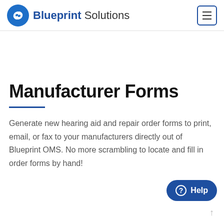Blueprint Solutions
Manufacturer Forms
Generate new hearing aid and repair order forms to print, email, or fax to your manufacturers directly out of Blueprint OMS. No more scrambling to locate and fill in order forms by hand!